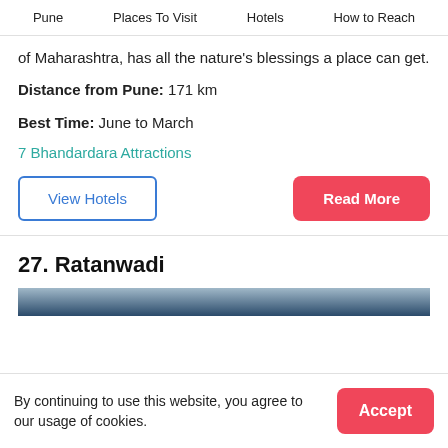Pune   Places To Visit   Hotels   How to Reach
of Maharashtra, has all the nature's blessings a place can get.
Distance from Pune: 171 km
Best Time: June to March
7 Bhandardara Attractions
View Hotels
Read More
27. Ratanwadi
By continuing to use this website, you agree to our usage of cookies.
Accept